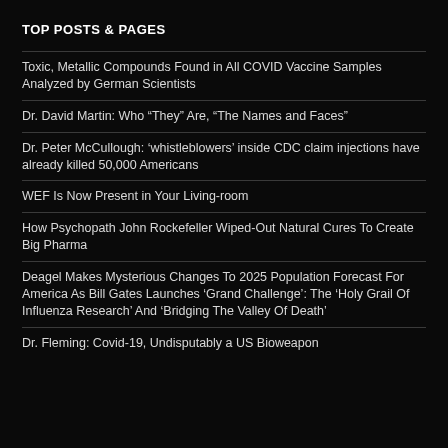TOP POSTS & PAGES
Toxic, Metallic Compounds Found in All COVID Vaccine Samples Analyzed by German Scientists
Dr. David Martin: Who “They” Are, “The Names and Faces”
Dr. Peter McCullough: ‘whistleblowers’ inside CDC claim injections have already killed 50,000 Americans
WEF Is Now Present in Your Living-room
How Psychopath John Rockefeller Wiped-Out Natural Cures To Create Big Pharma
Deagel Makes Mysterious Changes To 2025 Population Forecast For America As Bill Gates Launches ‘Grand Challenge’: The ‘Holy Grail Of Influenza Research’ And ‘Bridging The Valley Of Death’
Dr. Fleming: Covid-19, Undisputably a US Bioweapon